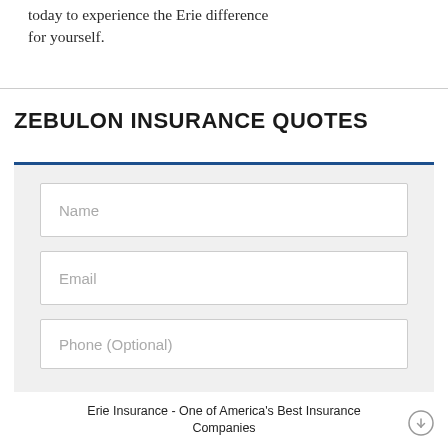today to experience the Erie difference for yourself.
ZEBULON INSURANCE QUOTES
Name
Email
Phone (Optional)
Erie Insurance - One of America's Best Insurance Companies